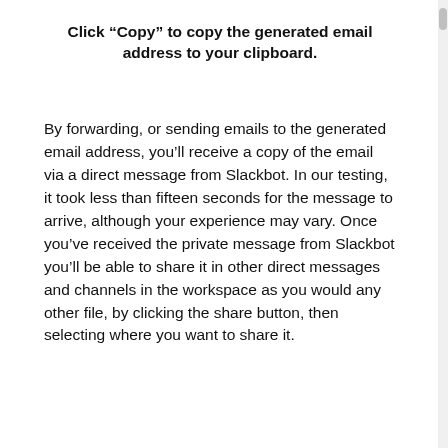Click “Copy” to copy the generated email address to your clipboard.
By forwarding, or sending emails to the generated email address, you’ll receive a copy of the email via a direct message from Slackbot. In our testing, it took less than fifteen seconds for the message to arrive, although your experience may vary. Once you’ve received the private message from Slackbot you’ll be able to share it in other direct messages and channels in the workspace as you would any other file, by clicking the share button, then selecting where you want to share it.